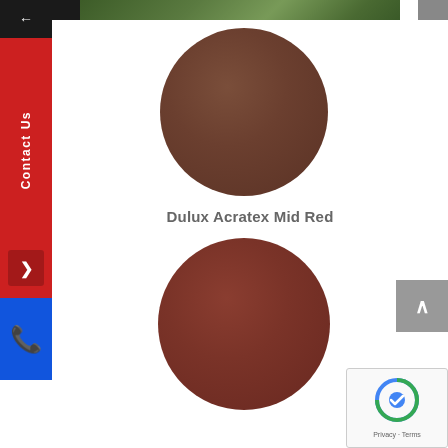[Figure (photo): Top image strip showing green foliage and outdoor scene]
[Figure (illustration): Brown circular paint color swatch (darker brown)]
Dulux Acratex Mid Red
[Figure (illustration): Red-brown circular paint color swatch (Mid Red)]
[Figure (screenshot): Left sidebar with back arrow, Contact Us label in red, chevron icon, and phone icon on blue background]
[Figure (screenshot): Gray scroll-to-top button with up arrow on right side]
[Figure (screenshot): reCAPTCHA widget with Privacy and Terms links]